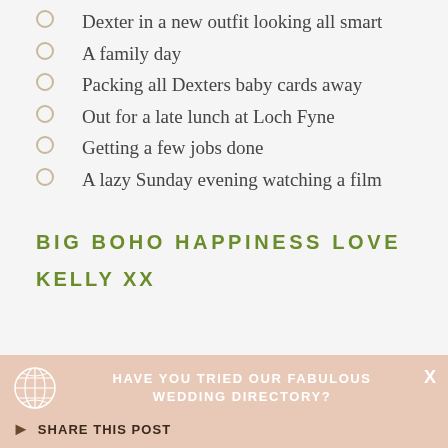Dexter in a new outfit looking all smart
A family day
Packing all Dexters baby cards away
Out for a late lunch at Loch Fyne
Getting a few jobs done
A lazy Sunday evening watching a film
BIG BOHO HAPPINESS LOVE
KELLY XX
HAVE YOU TRIED OUR FABULOUS WEDDING DIRECTORY?
SHARE THIS POST